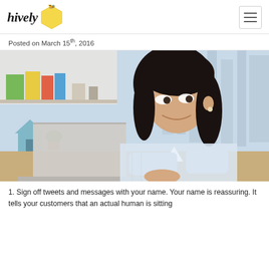hively
Posted on March 15th, 2016
[Figure (photo): Young Asian woman in a white denim jacket sitting at a desk, smiling while typing on a laptop computer. Background shows a modern office with bookshelves and city buildings visible through large windows.]
1. Sign off tweets and messages with your name. Your name is reassuring. It tells your customers that an actual human is sitting